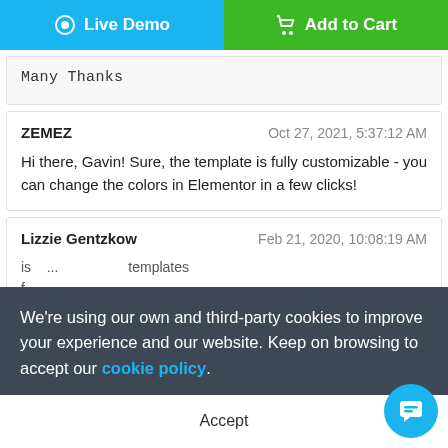[Figure (other): Two buttons: blue 'Live Demo' and green 'Add to Cart']
Many Thanks
ZEMEZ
Oct 27, 2021, 5:37:12 AM

Hi there, Gavin! Sure, the template is fully customizable - you can change the colors in Elementor in a few clicks!
Lizzie Gentzkow
Feb 21, 2020, 10:08:19 AM
We're using our own and third-party cookies to improve your experience and our website. Keep on browsing to accept our cookie policy.
Accept